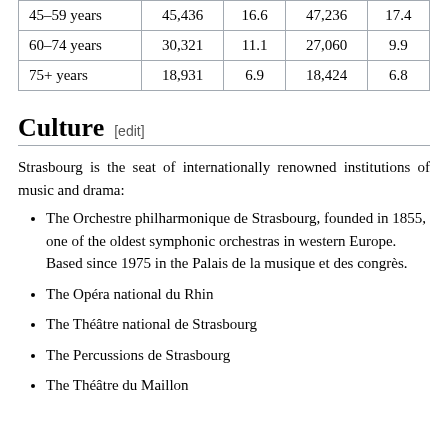|  |  |  |  |  |
| --- | --- | --- | --- | --- |
| 45–59 years | 45,436 | 16.6 | 47,236 | 17.4 |
| 60–74 years | 30,321 | 11.1 | 27,060 | 9.9 |
| 75+ years | 18,931 | 6.9 | 18,424 | 6.8 |
Culture [edit]
Strasbourg is the seat of internationally renowned institutions of music and drama:
The Orchestre philharmonique de Strasbourg, founded in 1855, one of the oldest symphonic orchestras in western Europe. Based since 1975 in the Palais de la musique et des congrès.
The Opéra national du Rhin
The Théâtre national de Strasbourg
The Percussions de Strasbourg
The Théâtre du Maillon